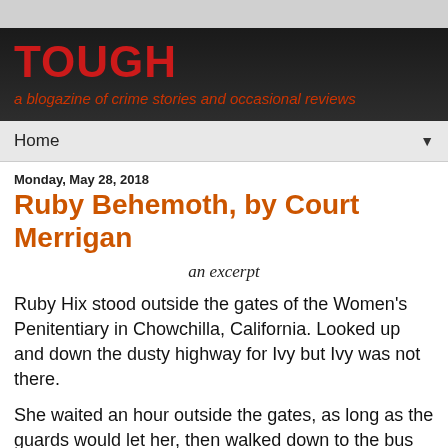TOUGH
a blogazine of crime stories and occasional reviews
Home ▼
Monday, May 28, 2018
Ruby Behemoth, by Court Merrigan
an excerpt
Ruby Hix stood outside the gates of the Women's Penitentiary in Chowchilla, California. Looked up and down the dusty highway for Ivy but Ivy was not there.
She waited an hour outside the gates, as long as the guards would let her, then walked down to the bus stop. Caught the 9303 bus down to Fresno. Fresno hadn't changed much in